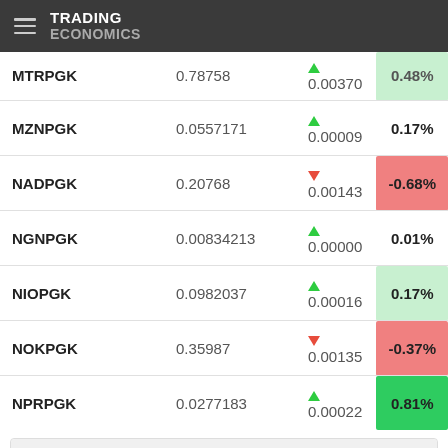TRADING ECONOMICS
| Symbol | Price | Change | % Change |
| --- | --- | --- | --- |
| MTRPGK | 0.78758 | ▲ 0.00370 | 0.48% |
| MZNPGK | 0.0557171 | ▲ 0.00009 | 0.17% |
| NADPGK | 0.20768 | ▼ 0.00143 | -0.68% |
| NGNPGK | 0.00834213 | ▲ 0.00000 | 0.01% |
| NIOPGK | 0.0982037 | ▲ 0.00016 | 0.17% |
| NOKPGK | 0.35987 | ▼ 0.00135 | -0.37% |
| NPRPGK | 0.0277183 | ▲ 0.00022 | 0.81% |
Exchange Rates
Base Rates
Quote Rates